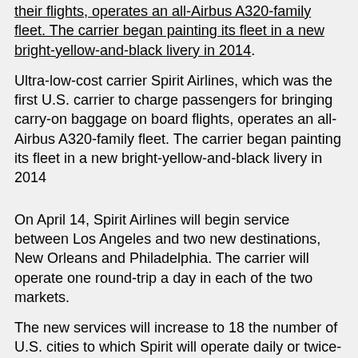their flights, operates an all-Airbus A320-family fleet. The carrier began painting its fleet in a new bright-yellow-and-black livery in 2014.
Ultra-low-cost carrier Spirit Airlines, which was the first U.S. carrier to charge passengers for bringing carry-on baggage on board flights, operates an all-Airbus A320-family fleet. The carrier began painting its fleet in a new bright-yellow-and-black livery in 2014
On April 14, Spirit Airlines will begin service between Los Angeles and two new destinations, New Orleans and Philadelphia. The carrier will operate one round-trip a day in each of the two markets.
The new services will increase to 18 the number of U.S. cities to which Spirit will operate daily or twice-daily non-stop service from Los Angeles International Airport.
Spirit's existing destinations from Los Angeles include Atlanta, Baltimore Washington International Airport, Chicago, Cleveland, Dallas/Fort Worth, Denver, Detroit, Fort Lauderdale Hollywood International Airport, Houston,